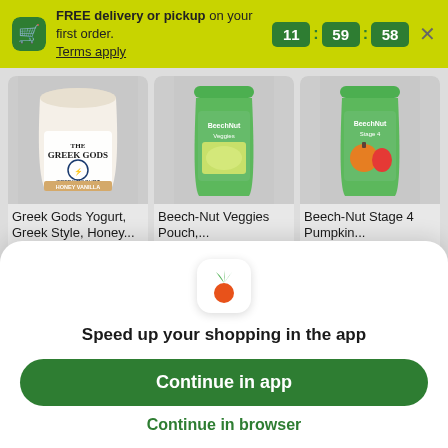FREE delivery or pickup on your first order. Terms apply
11 : 59 : 58
[Figure (photo): Greek Gods Yogurt container, Greek style, Honey Vanilla flavor, 24 oz]
Greek Gods Yogurt, Greek Style, Honey...
24 oz
[Figure (photo): Beech-Nut Veggies Pouch, green squeeze pouch, 3.5 oz]
Beech-Nut Veggies Pouch,...
3.5 oz
[Figure (photo): Beech-Nut Stage 4 Pumpkin pouch, green squeeze pouch with pumpkin and apple, each]
Beech-Nut Stage 4 Pumpkin...
each
[Figure (logo): Instacart carrot logo icon]
Speed up your shopping in the app
Continue in app
Continue in browser